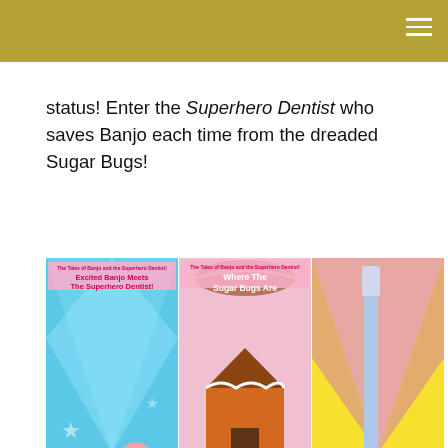status! Enter the Superhero Dentist who saves Banjo each time from the dreaded Sugar Bugs!
[Figure (illustration): Three children's book covers side by side: 'Excited Banjo Meets The Superhero Dentist!' (The Tales of Banjo and the Superhero Dentist series), 'Where The Sugar Bugs Are' (The Tales of Banjo and the Superhero Dentist series), and a third image showing a superhero character with a large dental tool.]
In this story, Banjo becomes very sleepy at the end of the day. He tells Mama that he feels too tired to brush. As he drifts-off, standing in the bathroom, he begins to dream about an awesome place known as Mouth Valley